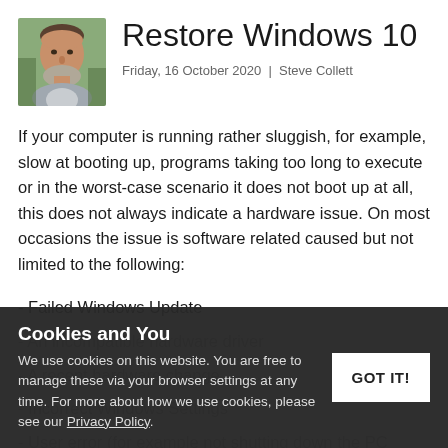[Figure (photo): Headshot/portrait photo of a middle-aged man with grey beard, smiling, outdoors.]
Restore Windows 10
Friday, 16 October 2020  |  Steve Collett
If your computer is running rather sluggish, for example, slow at booting up, programs taking too long to execute or in the worst-case scenario it does not boot up at all, this does not always indicate a hardware issue. On most occasions the issue is software related caused but not limited to the following:
- Failed Windows Update
- An incompatible hardware driver
- A recent hardware change
- Incorrect Windows Settings
- User error (for example not shutting down the PC correctly)
Cookies and You
We use cookies on this website. You are free to manage these via your browser settings at any time. For more about how we use cookies, please see our Privacy Policy.